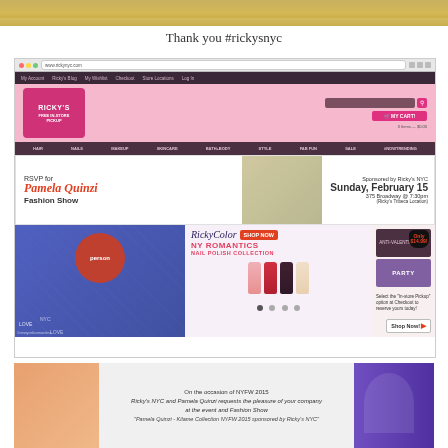[Figure (photo): Top portion of a person wearing a yellow/golden outfit, cropped at top of page]
Thank you #rickysnyc
[Figure (screenshot): Screenshot of Ricky's NYC website showing browser chrome, navigation bar, pink header with logo, category navigation (HAIR, NAILS, MAKEUP, SKINCARE, BATH+BODY, STYLE, FAB FUN, SALE, #NOWTRENDING), RSVP banner for Pamela Quinzi Fashion Show sponsored by Ricky's NYC on Sunday February 15 at 375 Broadway 7:30pm (Ricky's Tribeca Location), and RickyColor NY Romantics Nail Polish Collection shop now promotional section]
[Figure (photo): Bottom invitation card for NYFW 2015 Pamela Quinzi fashion show sponsored by Ricky's NYC, showing legs on left and model with purple on right, with text about the event]